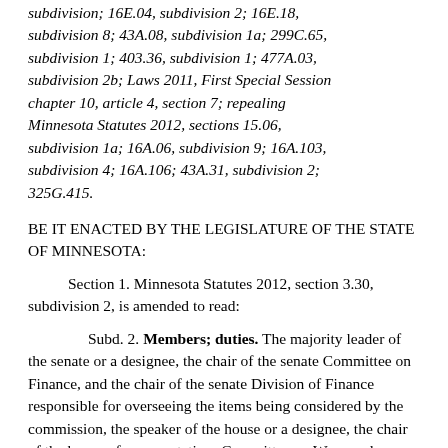subdivision; 16E.04, subdivision 2; 16E.18, subdivision 8; 43A.08, subdivision 1a; 299C.65, subdivision 1; 403.36, subdivision 1; 477A.03, subdivision 2b; Laws 2011, First Special Session chapter 10, article 4, section 7; repealing Minnesota Statutes 2012, sections 15.06, subdivision 1a; 16A.06, subdivision 9; 16A.103, subdivision 4; 16A.106; 43A.31, subdivision 2; 325G.415.
BE IT ENACTED BY THE LEGISLATURE OF THE STATE OF MINNESOTA:
Section 1. Minnesota Statutes 2012, section 3.30, subdivision 2, is amended to read:
Subd. 2. Members; duties. The majority leader of the senate or a designee, the chair of the senate Committee on Finance, and the chair of the senate Division of Finance responsible for overseeing the items being considered by the commission, the speaker of the house or a designee, the chair of the house of representatives Committee on Ways and Means, and the chair of the appropriate finance committee, or